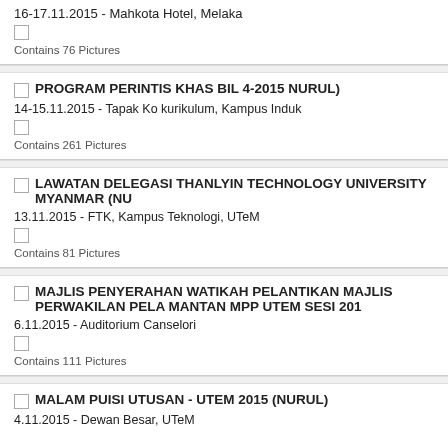16-17.11.2015 - Mahkota Hotel, Melaka
Contains 76 Pictures
PROGRAM PERINTIS KHAS BIL 4-2015 NURUL)
14-15.11.2015 - Tapak Ko kurikulum, Kampus Induk
Contains 261 Pictures
LAWATAN DELEGASI THANLYIN TECHNOLOGY UNIVERSITY MYANMAR (NU
13.11.2015 - FTK, Kampus Teknologi, UTeM
Contains 81 Pictures
MAJLIS PENYERAHAN WATIKAH PELANTIKAN MAJLIS PERWAKILAN PELA MANTAN MPP UTEM SESI 201
6.11.2015 - Auditorium Canselori
Contains 111 Pictures
MALAM PUISI UTUSAN - UTEM 2015 (NURUL)
4.11.2015 - Dewan Besar, UTeM